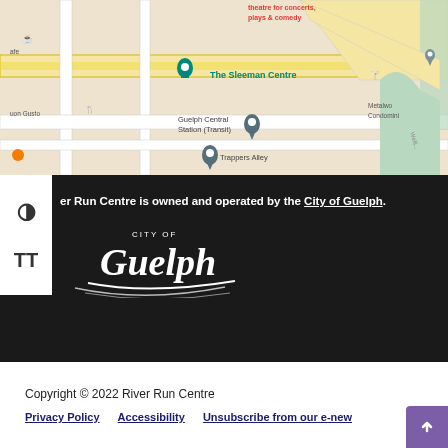[Figure (map): Google Maps screenshot showing The Sleeman Centre, Guelph Central Station (Transit), Trappers Alley, and surrounding area in Guelph, Ontario with various map markers and street labels]
River Run Centre is owned and operated by the City of Guelph.
[Figure (logo): City of Guelph logo in white on dark background]
Copyright © 2022 River Run Centre
Privacy Policy   Accessibility   Unsubscribe from our e-new...